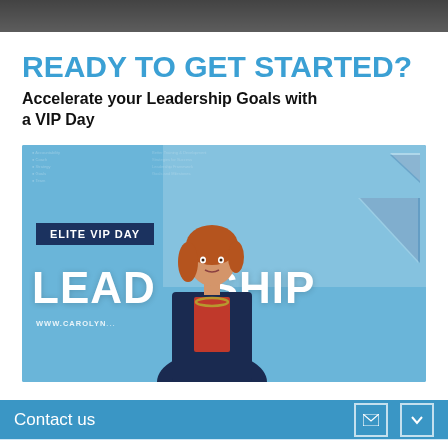READY TO GET STARTED?
Accelerate your Leadership Goals with a VIP Day
[Figure (photo): Promotional image for Elite VIP Day Leadership program. Blue-tinted image showing a woman at a whiteboard in background, with large white LEADERSHIP text, an Elite VIP Day badge, a woman in a blazer in the foreground, geometric triangle shapes on the right, and URL www.carolyn... at the bottom.]
Contact us